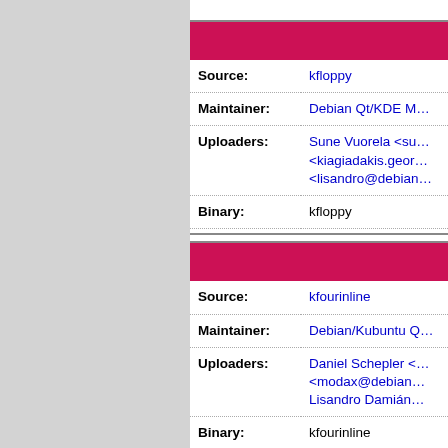| Field | Value |
| --- | --- |
| Source: | kfloppy |
| Maintainer: | Debian Qt/KDE M… |
| Uploaders: | Sune Vuorela <su… <kiagiadakis.geor… <lisandro@debian… |
| Binary: | kfloppy |
| Field | Value |
| --- | --- |
| Source: | kfourinline |
| Maintainer: | Debian/Kubuntu Q… |
| Uploaders: | Daniel Schepler < <modax@debian… Lisandro Damián… |
| Binary: | kfourinline |